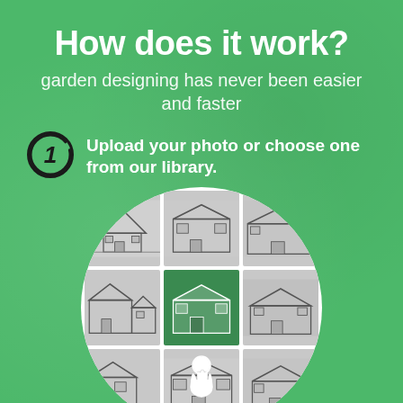How does it work?
garden designing has never been easier and faster
1 Upload your photo or choose one from our library.
[Figure (illustration): A circular image showing a grid of house photo thumbnails with a touch/click hand icon in the center-lower area. One thumbnail in the middle row center is highlighted in green. The images are grayscale sketches of various house styles.]